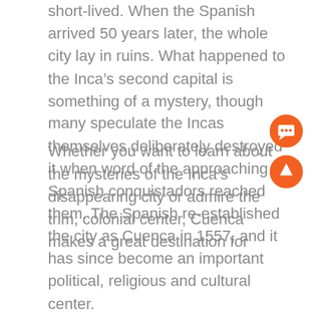short-lived. When the Spanish arrived 50 years later, the whole city lay in ruins. What happened to the Inca's second capital is something of a mystery, though many speculate the Incas themselves deliberately destroyed it when word of the approaching Spanish conquistadors reached them. The Spanish re-established the city as Cuenca in 1557, and it has since become an important political, religious and cultural center.
Whether you want to learn about the mysteries of the Inca's disappearing city or admire the trim, colonial center, Cuenca makes a great destination for
[Figure (other): Orange circular chat button with speech bubble icon]
[Figure (other): Orange circular scroll-to-top button with upward arrow icon]